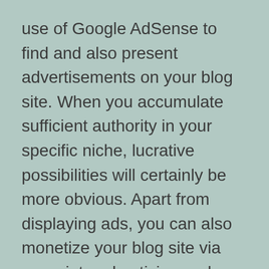use of Google AdSense to find and also present advertisements on your blog site. When you accumulate sufficient authority in your specific niche, lucrative possibilities will certainly be more obvious. Apart from displaying ads, you can also monetize your blog site via associate advertising and marketing. Affiliate advertising is a prominent method of making money from blogging, blog owners can market ad space, sell memberships, and also recommend items to viewers.